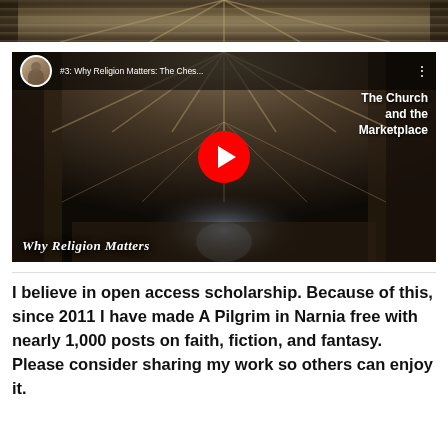[Figure (photo): Cathedral interior viewed from above, showing gothic arched ceiling and ornate stonework in dark warm tones]
[Figure (screenshot): YouTube video thumbnail showing Chester Cathedral interior with gothic vaulted ceiling and columns. Video titled '#3: Why Religion Matters: The Ches...' with subtitle 'The Church and the Marketplace'. Red YouTube play button in center. Watermark text 'Why Religion Matters' in white italic at bottom left. Presenter avatar in top left corner.]
I believe in open access scholarship. Because of this, since 2011 I have made A Pilgrim in Narnia free with nearly 1,000 posts on faith, fiction, and fantasy. Please consider sharing my work so others can enjoy it.